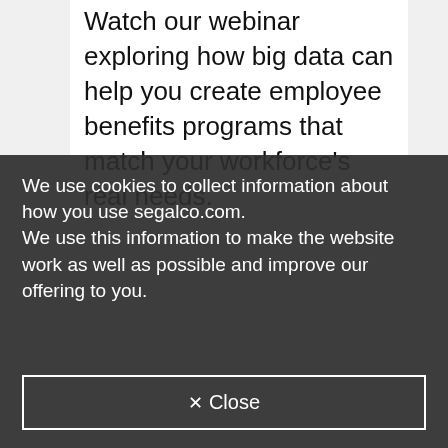Watch our webinar exploring how big data can help you create employee benefits programs that match your workforce's real needs.
We use cookies to collect information about how you use segalco.com. We use this information to make the website work as well as possible and improve our offering to you.
✕ Close